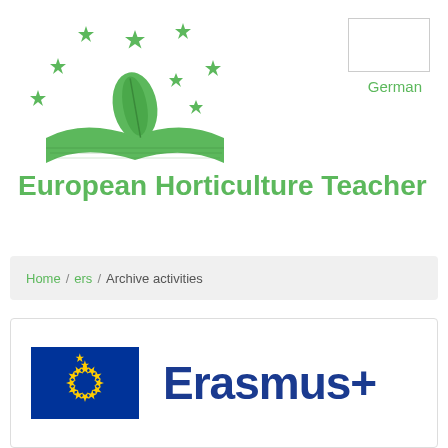[Figure (logo): European Horticulture Teacher logo: green open book with a green leaf and stars above it]
[Figure (other): Empty white rectangle box in top right corner, language selector placeholder]
German
European Horticulture Teacher
Home / ers / Archive activities
[Figure (logo): Erasmus+ logo: EU blue flag with yellow stars circle on left, 'Erasmus+' text in dark blue on right]